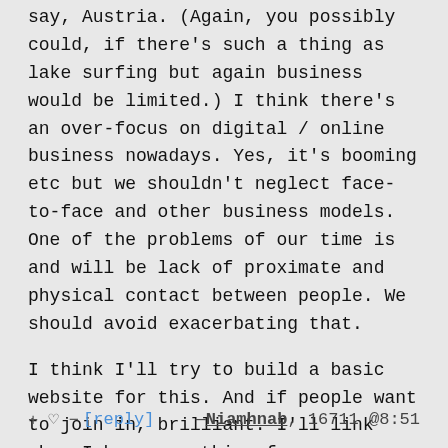say, Austria. (Again, you possibly could, if there's such a thing as lake surfing but again business would be limited.) I think there's an over-focus on digital / online business nowadays. Yes, it's booming etc but we shouldn't neglect face-to-face and other business models. One of the problems of our time is and will be lack of proximate and physical contact between people. We should avoid exacerbating that.
I think I'll try to build a basic website for this. And if people want to join in, brilliant. I'll link when I have something for ye. Meantime, if anyone else wants to begin, go for it. (1)
+ ♡ − [reply]   —Niamhnab, 16711 @8:51